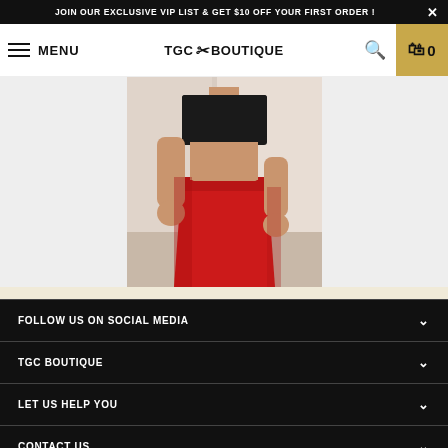JOIN OUR EXCLUSIVE VIP LIST & GET $10 OFF YOUR FIRST ORDER !
[Figure (screenshot): TGC Boutique website navigation bar with hamburger menu, logo, search icon, and cart button]
[Figure (photo): Fashion model wearing a black crop top and red bodycon skirt, showing midriff, standing in a bright room]
FOLLOW US ON SOCIAL MEDIA
TGC BOUTIQUE
LET US HELP YOU
CONTACT US